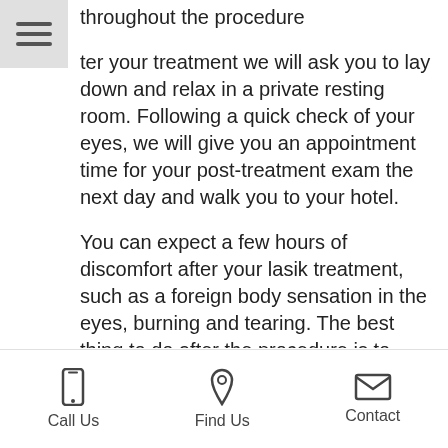throughout the procedure
ter your treatment we will ask you to lay down and relax in a private resting room. Following a quick check of your eyes, we will give you an appointment time for your post-treatment exam the next day and walk you to your hotel.
You can expect a few hours of discomfort after your lasik treatment, such as a foreign body sensation in the eyes, burning and tearing. The best thing to do after the procedure is to sleep, and this is why EyeSTAR LASIK treatments are scheduled for late afternoon or evening.
The next day you can go on with your day as usual. Visual recovery is extremely fast; in low to medium prescriptions more than 80% of the aimed vision is achieved even in the first day...
Call Us   Find Us   Contact